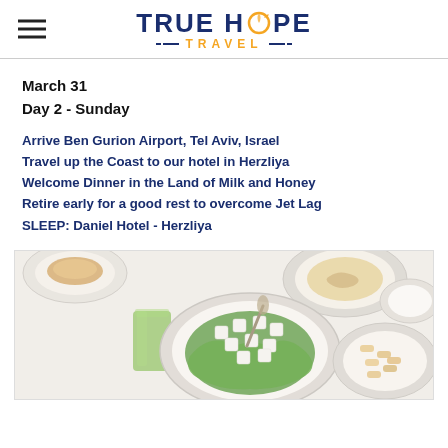TRUE HOPE TRAVEL
March 31
Day 2 - Sunday
Arrive Ben Gurion Airport, Tel Aviv, Israel
Travel up the Coast to our hotel in Herzliya
Welcome Dinner in the Land of Milk and Honey
Retire early for a good rest to overcome Jet Lag
SLEEP: Daniel Hotel - Herzliya
[Figure (photo): Overhead view of Israeli food spread including green salad with white cheese cubes on a square white plate, a glass of green juice, bowls of hummus, pasta salad, and other dishes on a white table.]